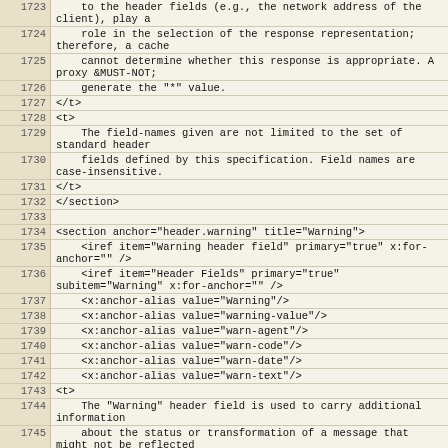| line | code |
| --- | --- |
| 1723 |     to the header fields (e.g., the network address of the client), play a |
| 1724 |     role in the selection of the response representation; therefore, a cache |
| 1725 |     cannot determine whether this response is appropriate. A proxy &MUST-NOT; |
| 1726 |     generate the "*" value. |
| 1727 | </t> |
| 1728 | <t> |
| 1729 |     The field-names given are not limited to the set of standard header |
| 1730 |     fields defined by this specification. Field names are case-insensitive. |
| 1731 | </t> |
| 1732 | </section> |
| 1733 |  |
| 1734 | <section anchor="header.warning" title="Warning"> |
| 1735 |     <iref item="Warning header field" primary="true" x:for-anchor="" /> |
| 1736 |     <iref item="Header Fields" primary="true" subitem="Warning" x:for-anchor="" /> |
| 1737 |     <x:anchor-alias value="Warning"/> |
| 1738 |     <x:anchor-alias value="warning-value"/> |
| 1739 |     <x:anchor-alias value="warn-agent"/> |
| 1740 |     <x:anchor-alias value="warn-code"/> |
| 1741 |     <x:anchor-alias value="warn-date"/> |
| 1742 |     <x:anchor-alias value="warn-text"/> |
| 1743 | <t> |
| 1744 |     The "Warning" header field is used to carry additional information |
| 1745 |     about the status or transformation of a message that might not be reflected |
| 1746 |     in the message. This information is typically used to warn about possible |